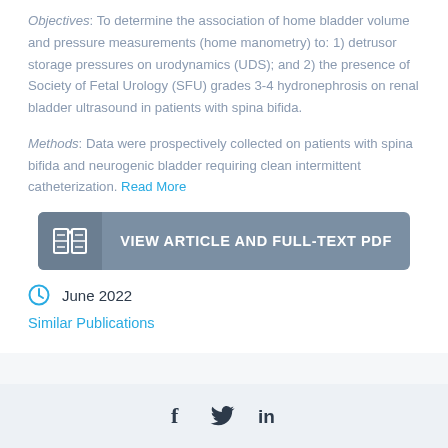Objectives: To determine the association of home bladder volume and pressure measurements (home manometry) to: 1) detrusor storage pressures on urodynamics (UDS); and 2) the presence of Society of Fetal Urology (SFU) grades 3-4 hydronephrosis on renal bladder ultrasound in patients with spina bifida.
Methods: Data were prospectively collected on patients with spina bifida and neurogenic bladder requiring clean intermittent catheterization. Read More
VIEW ARTICLE AND FULL-TEXT PDF
June 2022
Similar Publications
[Figure (other): Social sharing icons: Facebook (f), Twitter (bird), LinkedIn (in)]